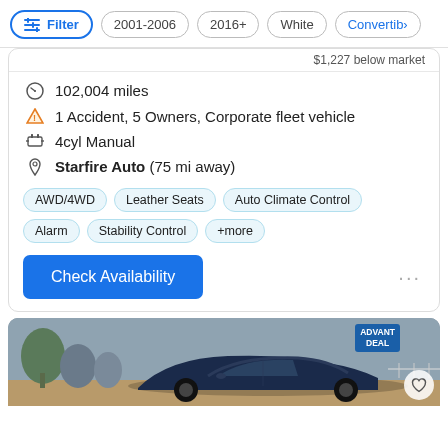Filter | 2001-2006 | 2016+ | White | Convertib>
$1,227 below market
102,004 miles
1 Accident, 5 Owners, Corporate fleet vehicle
4cyl Manual
Starfire Auto (75 mi away)
AWD/4WD   Leather Seats   Auto Climate Control   Alarm   Stability Control   +more
Check Availability
[Figure (photo): Blue convertible car parked outdoors with an Advantage Deal badge in the top right corner and a heart/save button in the bottom right.]